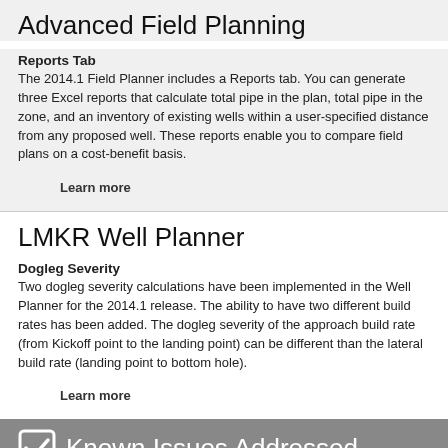Advanced Field Planning
Reports Tab
The 2014.1 Field Planner includes a Reports tab. You can generate three Excel reports that calculate total pipe in the plan, total pipe in the zone, and an inventory of existing wells within a user-specified distance from any proposed well. These reports enable you to compare field plans on a cost-benefit basis.
Learn more
LMKR Well Planner
Dogleg Severity
Two dogleg severity calculations have been implemented in the Well Planner for the 2014.1 release. The ability to have two different build rates has been added. The dogleg severity of the approach build rate (from Kickoff point to the landing point) can be different than the lateral build rate (landing point to bottom hole).
Learn more
Known Issues Addressed